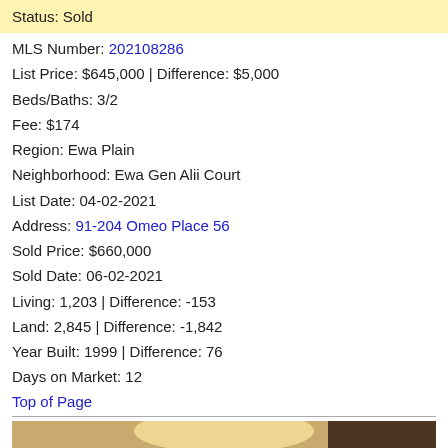Status: Sold
MLS Number: 202108286
List Price: $645,000 | Difference: $5,000
Beds/Baths: 3/2
Fee: $174
Region: Ewa Plain
Neighborhood: Ewa Gen Alii Court
List Date: 04-02-2021
Address: 91-204 Omeo Place 56
Sold Price: $660,000
Sold Date: 06-02-2021
Living: 1,203 | Difference: -153
Land: 2,845 | Difference: -1,842
Year Built: 1999 | Difference: 76
Days on Market: 12
Top of Page
[Figure (photo): Interior kitchen photo showing wooden cabinets, appliances on counter, and ceiling light]